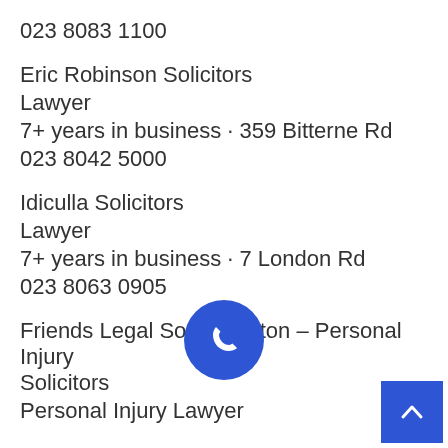023 8083 1100
Eric Robinson Solicitors
Lawyer
7+ years in business · 359 Bitterne Rd
023 8042 5000
Idiculla Solicitors
Lawyer
7+ years in business · 7 London Rd
023 8063 0905
Friends Legal Southampton – Personal Injury Solicitors
Personal Injury Lawyer